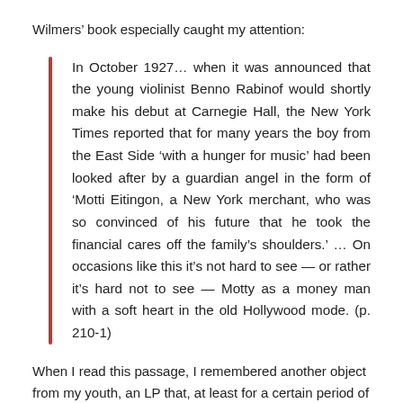Wilmers' book especially caught my attention:
In October 1927… when it was announced that the young violinist Benno Rabinof would shortly make his debut at Carnegie Hall, the New York Times reported that for many years the boy from the East Side 'with a hunger for music' had been looked after by a guardian angel in the form of 'Motti Eitingon, a New York merchant, who was so convinced of his future that he took the financial cares off the family's shoulders.' … On occasions like this it's not hard to see — or rather it's hard not to see — Motty as a money man with a soft heart in the old Hollywood mode. (p. 210-1)
When I read this passage, I remembered another object from my youth, an LP that, at least for a certain period of